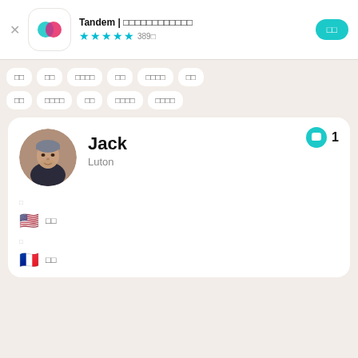Tandem | □□□□□□□□□□□□ ★★★★☆ 389□
□□
□□
□□□□
□□
□□□□
□□
□□
□□□□
□□
□□□□
□□□□
Jack
Luton
□ 🇺🇸 □□
□ 🇫🇷 □□